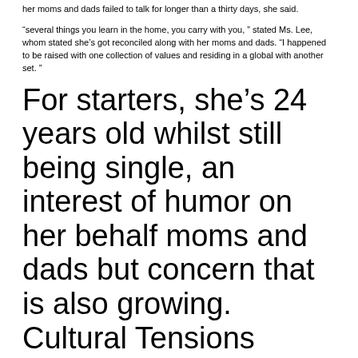her moms and dads failed to talk for longer than a thirty days, she said.
“several things you learn in the home, you carry with you, ” stated Ms. Lee, whom stated she’s got reconciled along with her moms and dads. “I happened to be raised with one collection of values and residing in a global with another set. ”
For starters, she’s 24 years old whilst still being single, an interest of humor on her behalf moms and dads but concern that is also growing. Cultural Tensions
“they are more worried that i will not get married after all, ” said Ms. Lee, that is learning on her masters' level in interdisciplinary studies, in communications and theology at Wheaton university in Illinois. “Twenty-five is the witching age for Korean females. ”
Ms. Lee’s description of her battles had been echoed by other ladies interviewed. They state their moms and dads would like them become trailblazers, yet specify the age a lady should really be married, just exactly how education that is much need to have and exactly what profession she should pursue to permit the full time for spouse and household.
Whilst each and every female’s experience is significantly diffent, most of these social tensions are many highly sensed by first- and second-generation Asian-Americans and have a tendency to dissipate the longer a grouped family members has been doing the usa, specially